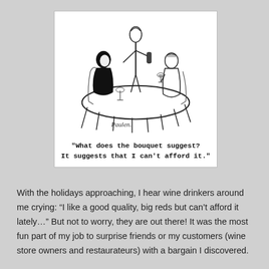[Figure (illustration): A black-and-white cartoon drawing showing a restaurant scene: a waiter standing at a round table holding a wine bottle, presenting to two seated diners. A wine glass is on the table. The cartoon is signed 'Paulen.' at the bottom.]
"What does the bouquet suggest? It suggests that I can't afford it."
With the holidays approaching, I hear wine drinkers around me crying: “I like a good quality, big reds but can’t afford it lately…” But not to worry, they are out there! It was the most fun part of my job to surprise friends or my customers (wine store owners and restaurateurs) with a bargain I discovered.